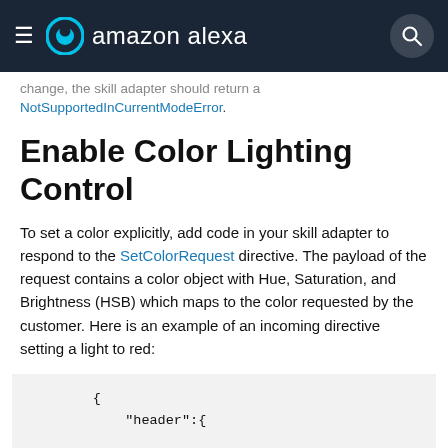amazon alexa
change, the skill adapter should return a NotSupportedInCurrentModeError.
Enable Color Lighting Control
To set a color explicitly, add code in your skill adapter to respond to the SetColorRequest directive. The payload of the request contains a color object with Hue, Saturation, and Brightness (HSB) which maps to the color requested by the customer. Here is an example of an incoming directive setting a light to red:
[Figure (screenshot): Code block showing JSON with header object containing namespace Alexa.ConnectedHome.Control, name SetColorRequest, payloadVersion 2, messageId 271314cd-ca00-...]